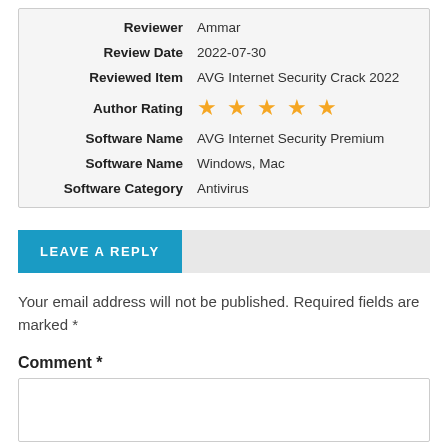| Label | Value |
| --- | --- |
| Reviewer | Ammar |
| Review Date | 2022-07-30 |
| Reviewed Item | AVG Internet Security Crack 2022 |
| Author Rating | ★★★★★ |
| Software Name | AVG Internet Security Premium |
| Software Name | Windows, Mac |
| Software Category | Antivirus |
LEAVE A REPLY
Your email address will not be published. Required fields are marked *
Comment *